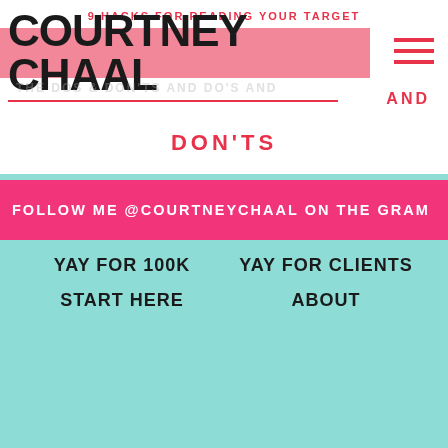9 HACKS FOR READING YOUR TARGET
COURTNEY CHAAL
AND DON'TS
FOLLOW ME @COURTNEYCHAAL ON THE GRAM
YAY FOR 100K
YAY FOR CLIENTS
START HERE
ABOUT